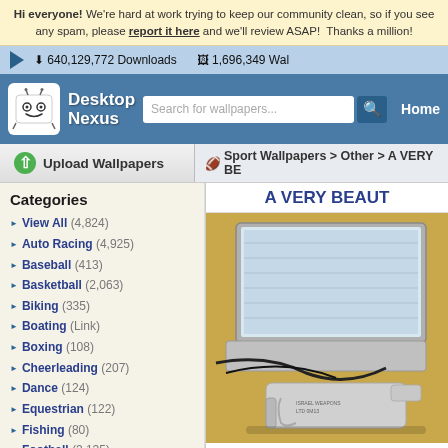Hi everyone! We're hard at work trying to keep our community clean, so if you see any spam, please report it here and we'll review ASAP! Thanks a million!
640,129,772 Downloads   1,696,349 Wal...
[Figure (screenshot): Desktop Nexus logo - white robot character on blue background]
Search for wallpapers...
Home
Upload Wallpapers
Sport Wallpapers > Other > A VERY BE...
Categories
A VERY BEAUT...
View All (4,824)
Auto Racing (4,925)
Baseball (413)
Basketball (2,063)
Biking (335)
Boating (Link)
Boxing (108)
Cheerleading (207)
Dance (124)
Equestrian (122)
Fishing (80)
Football (3,135)
Golf (166)
Hockey (516)
Hunting (566)
[Figure (photo): Wallpaper image showing a laptop computer and a silver pistol/gun on a yellow background]